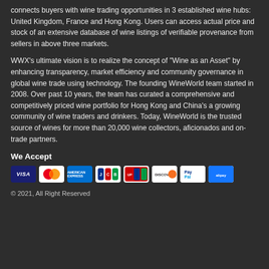connects buyers with wine trading opportunities in 3 established wine hubs: United Kingdom, France and Hong Kong. Users can access actual price and stock of an extensive database of wine listings of verifiable provenance from sellers in above three markets.
WWX's ultimate vision is to realize the concept of "Wine as an Asset" by enhancing transparency, market efficiency and community governance in global wine trade using technology. The founding WineWorld team started in 2008. Over past 10 years, the team has curated a comprehensive and competitively priced wine portfolio for Hong Kong and China's a growing community of wine traders and drinkers. Today, WineWorld is the trusted source of wines for more than 20,000 wine collectors, aficionados and on-trade partners.
We Accept
[Figure (other): Payment method icons: VISA, Mastercard, American Express, JCB, UnionPay, Discover, PayPal, Alipay]
© 2021, All Right Reserved